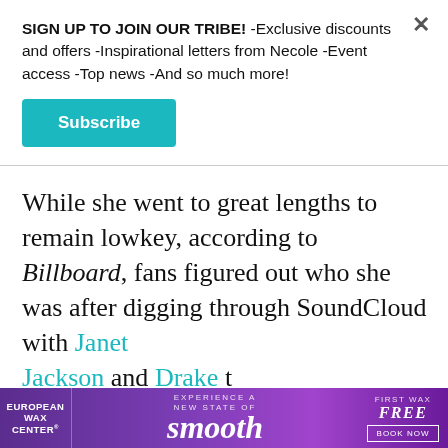SIGN UP TO JOIN OUR TRIBE! -Exclusive discounts and offers -Inspirational letters from Necole -Event access -Top news -And so much more!
Subscribe
While she went to great lengths to remain lowkey, according to Billboard, fans figured out who she was after digging through SoundCloud with Janet Jackson and Drake t revealing H.E.R. ide She would then go sunglasses in order ... continue to conceal her
[Figure (screenshot): Advertisement banner for European Wax Center featuring the word 'smooth' in large italic text on a purple gradient background. Left side shows 'European Wax Center' logo, center shows 'EXPERIENCE A NEW STATE OF smooth', right side shows 'FIRST WAX free BOOK NOW'.]